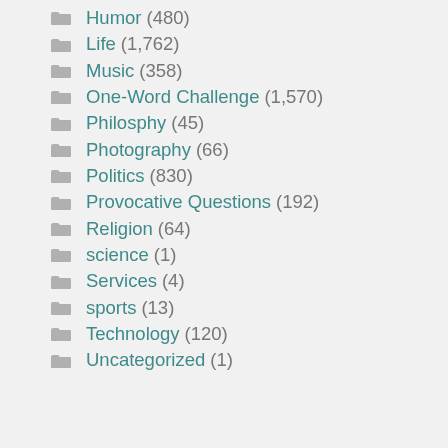Humor (480)
Life (1,762)
Music (358)
One-Word Challenge (1,570)
Philosphy (45)
Photography (66)
Politics (830)
Provocative Questions (192)
Religion (64)
science (1)
Services (4)
sports (13)
Technology (120)
Uncategorized (1)